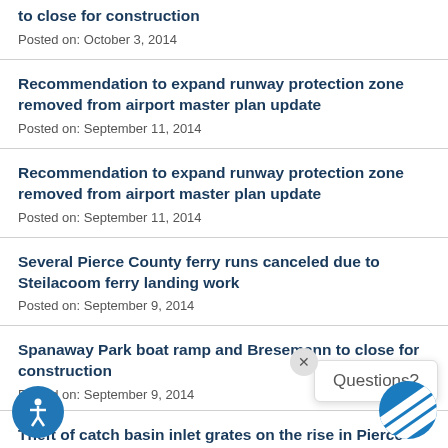to close for construction
Posted on: October 3, 2014
Recommendation to expand runway protection zone removed from airport master plan update
Posted on: September 11, 2014
Recommendation to expand runway protection zone removed from airport master plan update
Posted on: September 11, 2014
Several Pierce County ferry runs canceled due to Steilacoom ferry landing work
Posted on: September 9, 2014
Spanaway Park boat ramp and Bresemann to close for construction
Posted on: September 9, 2014
Theft of catch basin inlet grates on the rise in Pierce
[Figure (illustration): Questions? popup balloon with close button]
[Figure (logo): Accessibility icon - blue circle with person figure]
[Figure (logo): Pierce County logo - blue circle with chevron stripes]